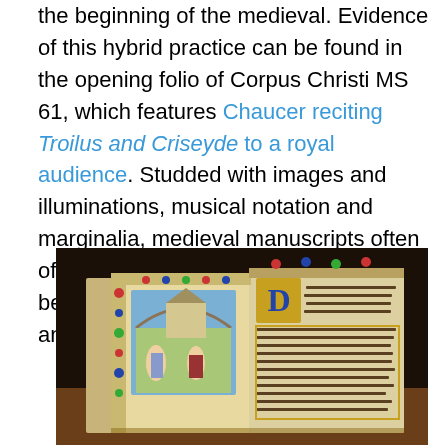the beginning of the medieval. Evidence of this hybrid practice can be found in the opening folio of Corpus Christi MS 61, which features Chaucer reciting Troilus and Criseyde to a royal audience. Studded with images and illuminations, musical notation and marginalia, medieval manuscripts often offer a complex multimodal relationship between graphics and written text, color and music, the visual and the aural.
[Figure (photo): An open illuminated medieval manuscript book displayed on a wooden surface, showing ornate floral border decorations in red, blue, and gold, a miniature painting of two figures (an angel and Mary in an Annunciation scene) under an arch on the left page, and a large decorative gilded initial letter D with text in Latin script on the right page.]